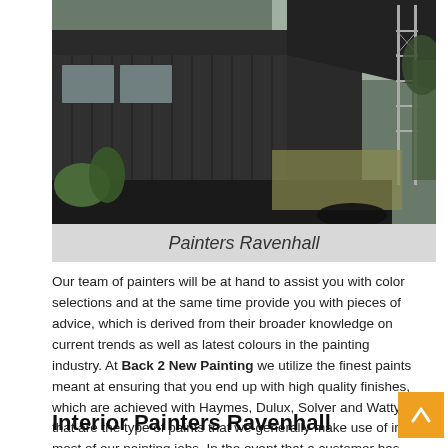[Figure (photo): Dark charcoal metal clad building under construction with scaffolding visible on the right side, surrounded by garden plants and dry grass]
Painters Ravenhall
Our team of painters will be at hand to assist you with color selections and at the same time provide you with pieces of advice, which is derived from their broader knowledge on current trends as well as latest colours in the painting industry. At Back 2 New Painting we utilize the finest paints meant at ensuring that you end up with high quality finishes, which are achieved with Haymes, Dulux, Solver and Wattyl that are the type of paints that we generally make use of in most of our painting jobs. In the event that a customer has their preferred brand, we are ever happy to apply it on their property.
Interior Painters Ravenhall